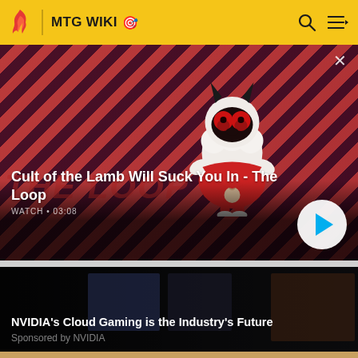MTG WIKI
[Figure (screenshot): Cult of the Lamb game character - a lamb with devil horns and glowing red eyes wearing a red cloak, on a diagonal striped red and dark purple background. Video thumbnail with WATCH • 03:08 label and play button.]
Cult of the Lamb Will Suck You In - The Loop
[Figure (screenshot): NVIDIA cloud gaming promotional card with dark background showing gaming screens]
NVIDIA's Cloud Gaming is the Industry's Future
Sponsored by NVIDIA